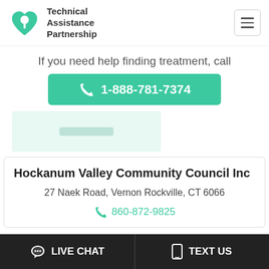Technical Assistance Partnership
If you need help finding treatment, call
1-888-781-7374
[Figure (screenshot): Blurred/placeholder image area with light teal background]
Hockanum Valley Community Council Inc
27 Naek Road, Vernon Rockville, CT 6066
860-872-9825
LIVE CHAT   TEXT US